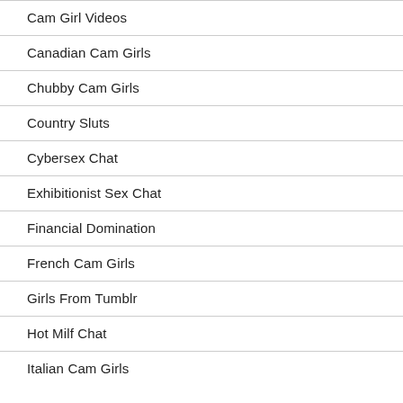Cam Girl Videos
Canadian Cam Girls
Chubby Cam Girls
Country Sluts
Cybersex Chat
Exhibitionist Sex Chat
Financial Domination
French Cam Girls
Girls From Tumblr
Hot Milf Chat
Italian Cam Girls